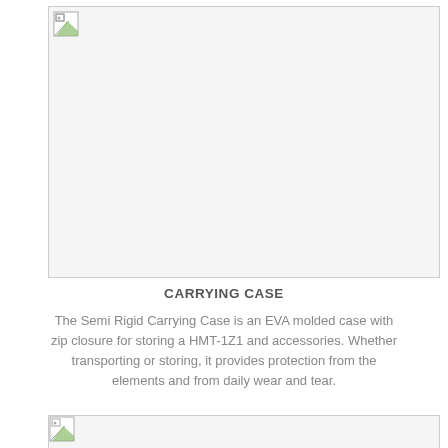[Figure (photo): Broken/missing image placeholder at top of page showing a carrying case product image]
CARRYING CASE
The Semi Rigid Carrying Case is an EVA molded case with zip closure for storing a HMT-1Z1 and accessories. Whether transporting or storing, it provides protection from the elements and from daily wear and tear.
[Figure (photo): Broken/missing image placeholder at bottom of page]